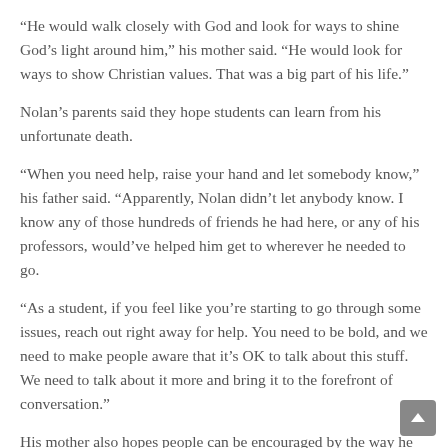“He would walk closely with God and look for ways to shine God’s light around him,” his mother said. “He would look for ways to show Christian values. That was a big part of his life.”
Nolan’s parents said they hope students can learn from his unfortunate death.
“When you need help, raise your hand and let somebody know,” his father said. “Apparently, Nolan didn’t let anybody know. I know any of those hundreds of friends he had here, or any of his professors, would’ve helped him get to wherever he needed to go.
“As a student, if you feel like you’re starting to go through some issues, reach out right away for help. You need to be bold, and we need to make people aware that it’s OK to talk about this stuff. We need to talk about it more and bring it to the forefront of conversation.”
His mother also hopes people can be encouraged by the way he lived his life.